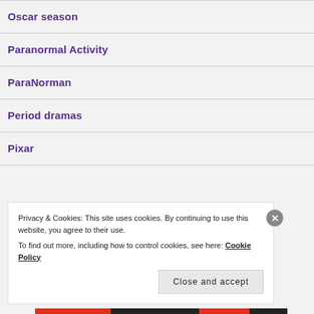Oscar season
Paranormal Activity
ParaNorman
Period dramas
Pixar
Privacy & Cookies: This site uses cookies. By continuing to use this website, you agree to their use.
To find out more, including how to control cookies, see here: Cookie Policy